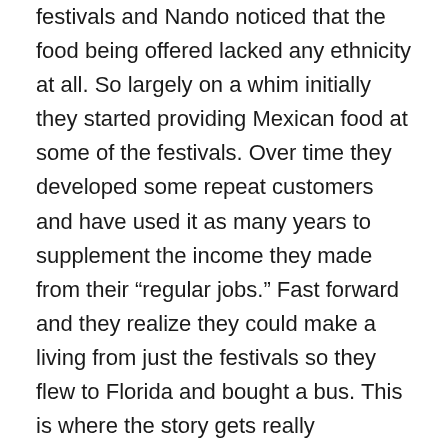festivals and Nando noticed that the food being offered lacked any ethnicity at all. So largely on a whim initially they started providing Mexican food at some of the festivals. Over time they developed some repeat customers and have used it as many years to supplement the income they made from their “regular jobs.” Fast forward and they realize they could make a living from just the festivals so they flew to Florida and bought a bus. This is where the story gets really interesting. Jen does not like to plan too far in advance. This is a lifestyle choice, not caused by any sort of laziness (Jen works her butt off to make this lifestyle work for her family) but because of how she wants to live. So, you know me, the uber planner…the thought of no plan makes me break into hives (not really but you know what I mean). but as we were talking I opened my mind to the concept. Which was easy because Jen and Nando are obviously very good